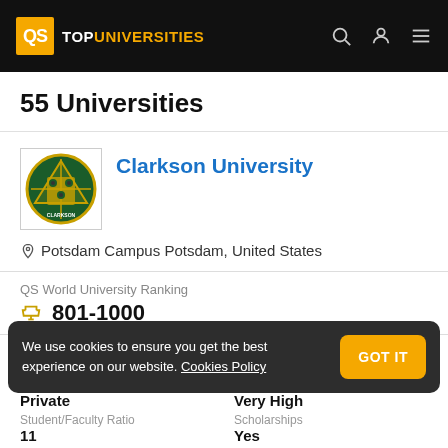QS TOP UNIVERSITIES
55 Universities
Clarkson University
Potsdam Campus Potsdam, United States
QS World University Ranking
801-1000
We use cookies to ensure you get the best experience on our website. Cookies Policy
Status: Private
Research Output: Very High
Student/Faculty Ratio
Scholarships